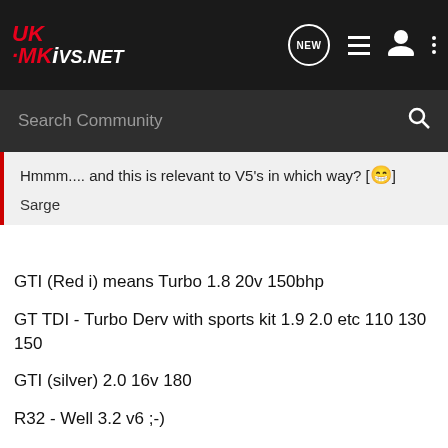UK-MKV5.NET
Search Community
Hmmm.... and this is relevant to V5's in which way? [😁]

Sarge
GTI (Red i) means Turbo 1.8 20v 150bhp
GT TDI - Turbo Derv with sports kit 1.9 2.0 etc 110 130 150
GTI (silver) 2.0 16v 180
R32 - Well 3.2 v6 ;-)
so whast teh V5??? Id love to know is it a petrol or derv??
i was reading the first post if you wanna know and thought id ask as was told by several people that red i turbos were 180bhp